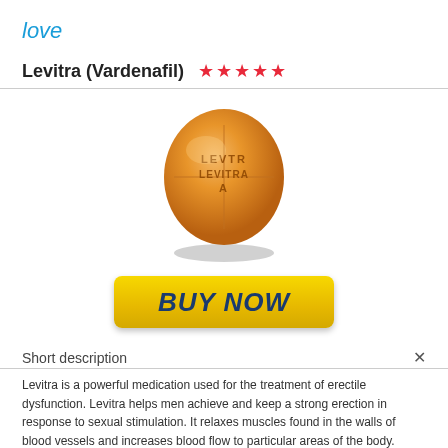love
Levitra (Vardenafil) ★★★★★
[Figure (photo): Orange round Levitra pill/tablet with 'LEVITRA' text embossed on it, shown from a slight angle with shadow]
[Figure (other): Yellow gradient 'BUY NOW' button with dark blue bold italic text]
Short description
Levitra is a powerful medication used for the treatment of erectile dysfunction. Levitra helps men achieve and keep a strong erection in response to sexual stimulation. It relaxes muscles found in the walls of blood vessels and increases blood flow to particular areas of the body. Read more